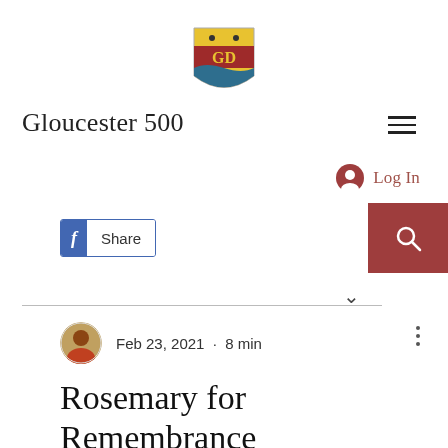[Figure (logo): GD shield heraldic logo with gold top section, red middle with 'GD' text, and blue/green wavy bottom]
Gloucester 500
[Figure (other): Hamburger menu icon (three horizontal lines)]
[Figure (other): Log In button with person/account icon in dark red]
[Figure (other): Facebook Share button]
[Figure (other): Search button (magnifying glass) on dark red background]
[Figure (other): Chevron down arrow]
[Figure (other): Author avatar thumbnail - colorful circular photo]
Feb 23, 2021  ·  8 min
Rosemary for Remembrance